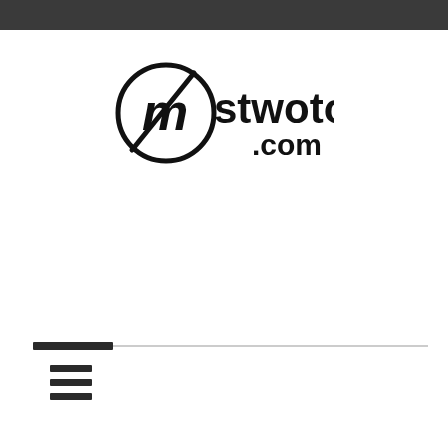[Figure (logo): mstwotoes.com logo featuring a stylized M letter inside a circle with a diagonal line through it, followed by the text 'stwotoes.com']
[Figure (other): Hamburger menu icon consisting of three horizontal dark lines]